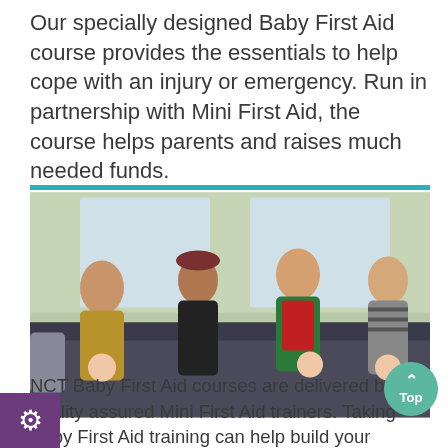Our specially designed Baby First Aid course provides the essentials to help cope with an injury or emergency. Run in partnership with Mini First Aid, the course helps parents and raises much needed funds.
[Figure (photo): Group of adults sitting on sofas practising baby first aid on mannequins, with an instructor in a green top and red vest demonstrating. Indoor setting with large windows.]
NCT Baby First Aid courses are delivered by quality assured Mini First Aid trainers. Taking Baby First Aid training can help build your confidence as a parent,